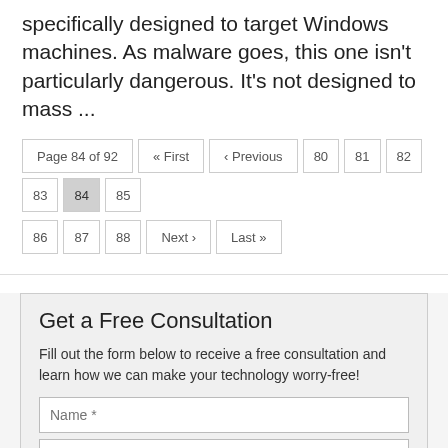specifically designed to target Windows machines. As malware goes, this one isn't particularly dangerous. It's not designed to mass ...
Get a Free Consultation
Fill out the form below to receive a free consultation and learn how we can make your technology worry-free!